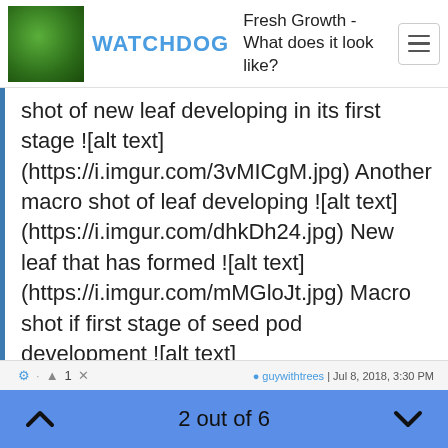WATCHDOG | Fresh Growth - What does it look like?
shot of new leaf developing in its first stage ![alt text](https://i.imgur.com/3vMICgM.jpg) Another macro shot of leaf developing ![alt text](https://i.imgur.com/dhkDh24.jpg) New leaf that has formed ![alt text](https://i.imgur.com/mMGloJt.jpg) Macro shot if first stage of seed pod development ![alt text](https://i.imgur.com/GS1Dt5J.jpg) New leaf developing ![alt text](https://i.imgur.com/F81qHD2.jpg) Macro shot of new leaf coming out of a node ![alt text](https://i.imgur.com/YPNBYxo.jpg) New leaf ![alt text](https://i.imgur.com/PEnC8ye.jpg)
guywithtrees | Jul 8, 2018, 3:30 PM
2 out of 6